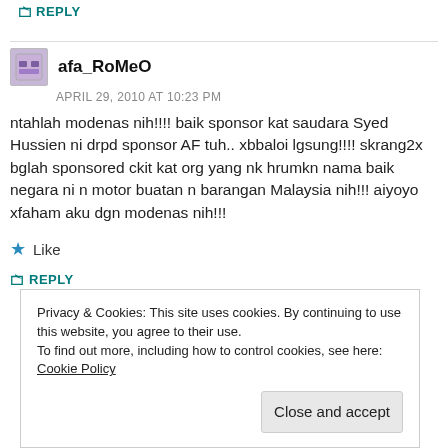↪ REPLY
afa_RoMeO
APRIL 29, 2010 AT 10:23 PM
ntahlah modenas nih!!!! baik sponsor kat saudara Syed Hussien ni drpd sponsor AF tuh.. xbbaloi lgsung!!!! skrang2x bglah sponsored ckit kat org yang nk hrumkn nama baik negara ni n motor buatan n barangan Malaysia nih!!! aiyoyo xfaham aku dgn modenas nih!!!
★ Like
↪ REPLY
Privacy & Cookies: This site uses cookies. By continuing to use this website, you agree to their use. To find out more, including how to control cookies, see here: Cookie Policy
Close and accept
thanks bro.